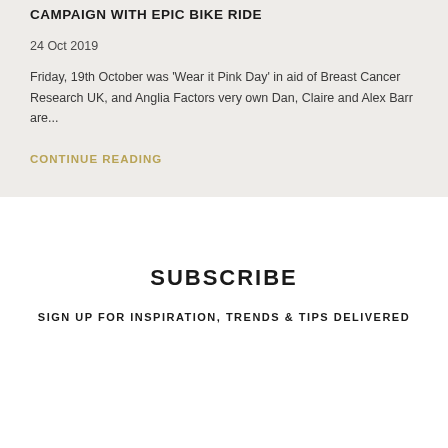CAMPAIGN WITH EPIC BIKE RIDE
24 Oct 2019
Friday, 19th October was 'Wear it Pink Day' in aid of Breast Cancer Research UK, and Anglia Factors very own Dan, Claire and Alex Barr are...
CONTINUE READING
SUBSCRIBE
SIGN UP FOR INSPIRATION, TRENDS & TIPS DELIVERED